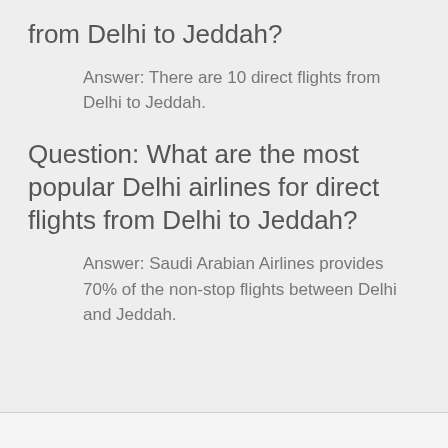from Delhi to Jeddah?
Answer: There are 10 direct flights from Delhi to Jeddah.
Question: What are the most popular Delhi airlines for direct flights from Delhi to Jeddah?
Answer: Saudi Arabian Airlines provides 70% of the non-stop flights between Delhi and Jeddah.
Delhi to Jeddah Airports